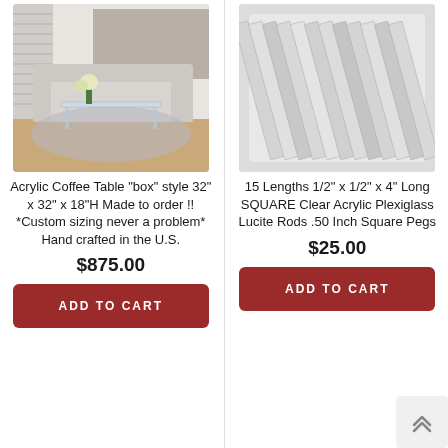[Figure (photo): Acrylic coffee table in a modern living room setting with white sofa and flowers]
[Figure (photo): 15 clear acrylic square rods bundled together on a light background]
Acrylic Coffee Table "box" style 32" x 32" x 18"H Made to order !! *Custom sizing never a problem* Hand crafted in the U.S.
15 Lengths 1/2" x 1/2" x 4" Long SQUARE Clear Acrylic Plexiglass Lucite Rods .50 Inch Square Pegs
$875.00
$25.00
ADD TO CART
ADD TO CART